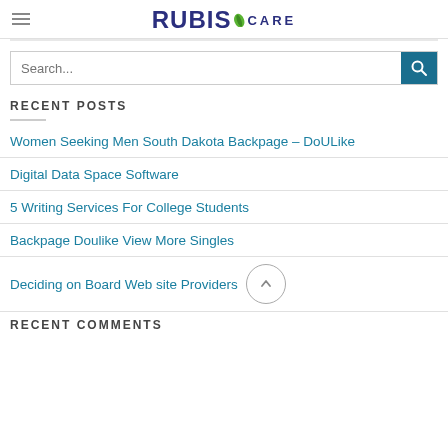[Figure (logo): Rubis Care logo with leaf icon in navy blue and green]
Search...
RECENT POSTS
Women Seeking Men South Dakota Backpage – DoULike
Digital Data Space Software
5 Writing Services For College Students
Backpage Doulike View More Singles
Deciding on Board Web site Providers
RECENT COMMENTS